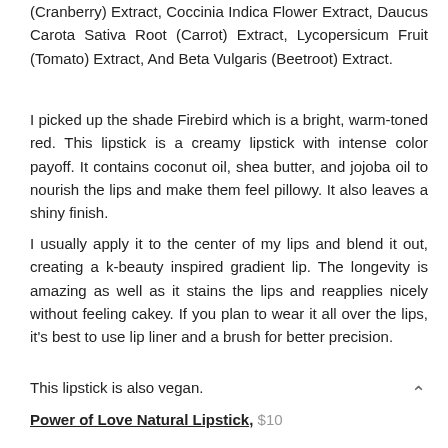(Cranberry) Extract, Coccinia Indica Flower Extract, Daucus Carota Sativa Root (Carrot) Extract, Lycopersicum Fruit (Tomato) Extract, And Beta Vulgaris (Beetroot) Extract.
I picked up the shade Firebird which is a bright, warm-toned red. This lipstick is a creamy lipstick with intense color payoff. It contains coconut oil, shea butter, and jojoba oil to nourish the lips and make them feel pillowy. It also leaves a shiny finish.
I usually apply it to the center of my lips and blend it out, creating a k-beauty inspired gradient lip. The longevity is amazing as well as it stains the lips and reapplies nicely without feeling cakey. If you plan to wear it all over the lips, it's best to use lip liner and a brush for better precision.
This lipstick is also vegan.
Power of Love Natural Lipstick, $10